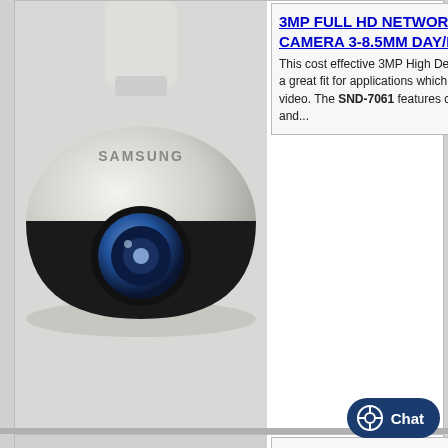[Figure (photo): Samsung SND-7061 dome security camera, white/beige, ceiling mount style, viewed from front-bottom angle]
3MP FULL HD NETWORK DOME CAMERA 3-8.5MM DAY/NIGHT
This cost effective 3MP High Definition network dome camera is a great fit for applications which require high quality HD video. The SND-7061 features contrast... and...
Samsung: snd-7061
[Figure (photo): Samsung SND-7080 HD dome network camera, black and white, ceiling mount, front view]
NETWORK HD DOME CAMERA 4 MP PROG SCAN CMOS
The SND-7080 is an ONVIF compliant full HD network dome camera that incorporates Samsung's advanced DSP chipset. This camera is capable of multiple...
| Spec | Value |
| --- | --- |
| → Imaging Device | 1/2.8" 3... |
| → Total Pixels | 2,144(H... |
| → ... | ...6(H... |
| → Sc... | ...re... |
|  | Color - ... |
|  | 0.017l... |